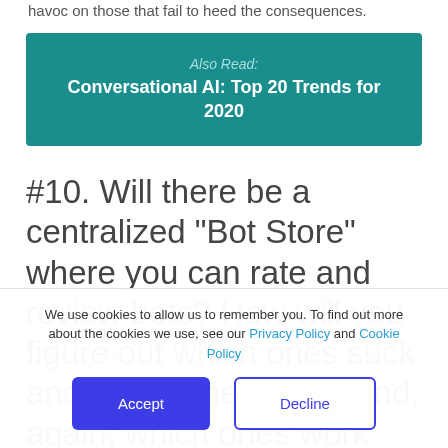havoc on those that fail to heed the consequences.
Also Read: Conversational AI: Top 20 Trends for 2020
#10. Will there be a centralized “Bot Store” where you can rate and review bots? How will you figure out which ones suck and which ones don’t (and, again, which ones work with your
We use cookies to allow us to remember you. To find out more about the cookies we use, see our Privacy Policy and Cookie Policy
Accept
Decline